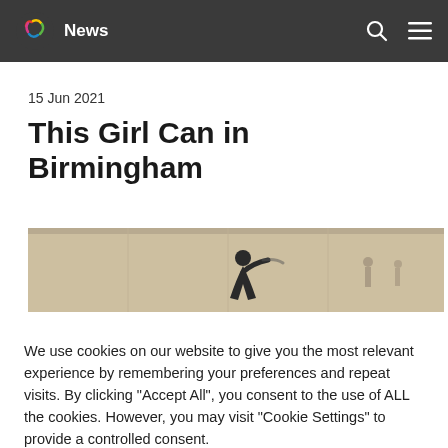News
15 Jun 2021
This Girl Can in Birmingham
[Figure (photo): Partial view of a photo showing a figure/silhouette in a beige/tan colored background, appears to be a gymnasium or indoor sports space.]
We use cookies on our website to give you the most relevant experience by remembering your preferences and repeat visits. By clicking "Accept All", you consent to the use of ALL the cookies. However, you may visit "Cookie Settings" to provide a controlled consent.